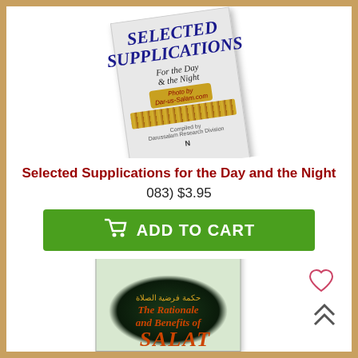[Figure (photo): Book cover of 'Selected Supplications for the Day and the Night' shown at an angle with ornamental decoration and watermark 'Photo by Dar-us-Salam.com']
Selected Supplications for the Day and the Night
083) $3.95
ADD TO CART
[Figure (photo): Book cover of 'The Rationale and Benefits of Salat' shown partially, with Arabic text and dark oval design on a light green cover]